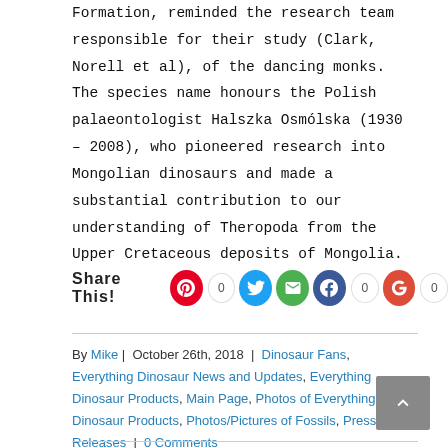Formation, reminded the research team responsible for their study (Clark, Norell et al), of the dancing monks.  The species name honours the Polish palaeontologist Halszka Osmólska (1930 – 2008), who pioneered research into Mongolian dinosaurs and made a substantial contribution to our understanding of Theropoda from the Upper Cretaceous deposits of Mongolia.
Share This! [Pinterest 0] [Twitter] [Email] [Facebook 0] [Google+ 0]
By Mike | October 26th, 2018 | Dinosaur Fans, Everything Dinosaur News and Updates, Everything Dinosaur Products, Main Page, Photos of Everything Dinosaur Products, Photos/Pictures of Fossils, Press Releases | 0 Comments